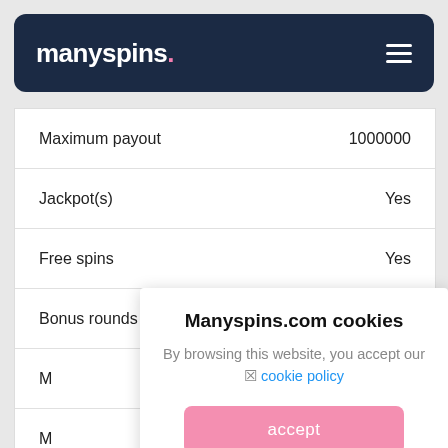manyspins.
| Feature | Value |
| --- | --- |
| Maximum payout | 1000000 |
| Jackpot(s) | Yes |
| Free spins | Yes |
| Bonus rounds | Yes |
| M |  |
| M |  |
Manyspins.com cookies
By browsing this website, you accept our ☒ cookie policy
accept